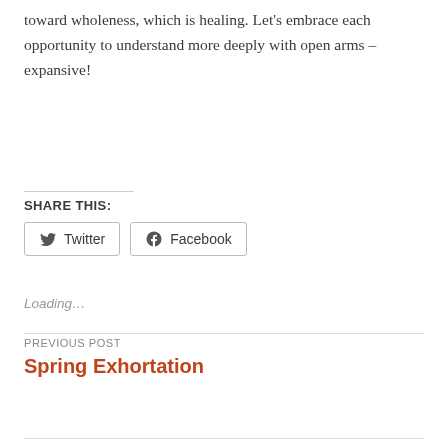toward wholeness, which is healing. Let's embrace each opportunity to understand more deeply with open arms – expansive!
SHARE THIS:
[Figure (other): Social share buttons for Twitter and Facebook]
Loading…
PREVIOUS POST
Spring Exhortation